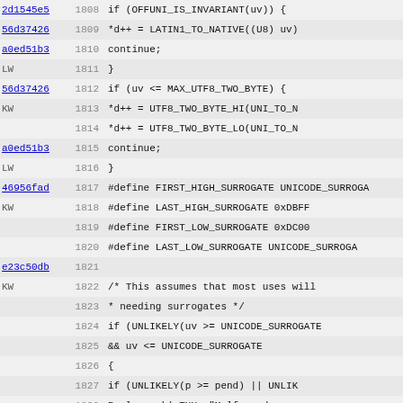[Figure (screenshot): Source code viewer showing C/Perl code lines 1808-1839+ with commit hashes, line numbers, and code content. Lines show UTF8 encoding logic including surrogate handling.]